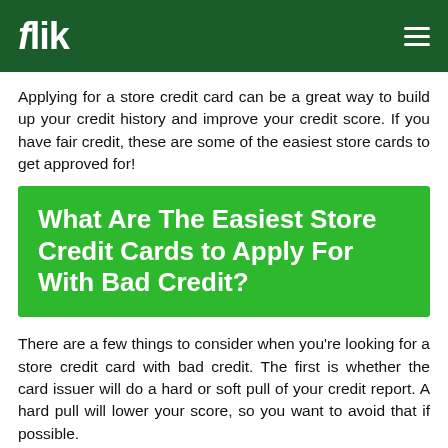flik
Applying for a store credit card can be a great way to build up your credit history and improve your credit score. If you have fair credit, these are some of the easiest store cards to get approved for!
What Are The Easiest Store Credit Cards to Apply For With Bad Credit?
There are a few things to consider when you’re looking for a store credit card with bad credit. The first is whether the card issuer will do a hard or soft pull of your credit report. A hard pull will lower your score, so you want to avoid that if possible.